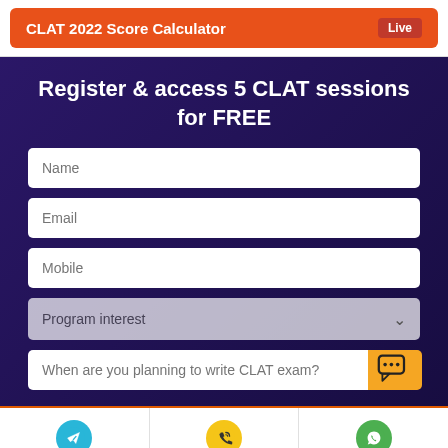CLAT 2022 Score Calculator
Register & access 5 CLAT sessions for FREE
Name
Email
Mobile
Program interest
When are you planning to write CLAT exam?
[Figure (infographic): Footer bar with three icons: Telegram (blue), Phone (yellow with call icon), WhatsApp (green)]